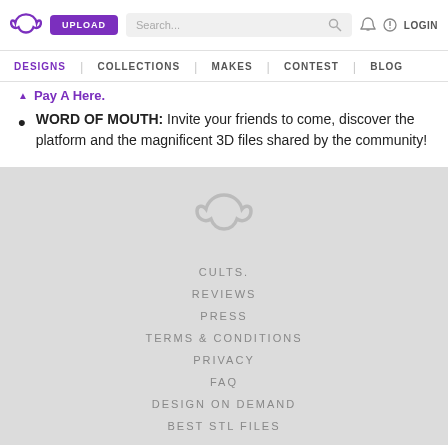UPLOAD | Search... | LOGIN | DESIGNS | COLLECTIONS | MAKES | CONTEST | BLOG
Pay A Here.
WORD OF MOUTH: Invite your friends to come, discover the platform and the magnificent 3D files shared by the community!
CULTS. REVIEWS PRESS TERMS & CONDITIONS PRIVACY FAQ DESIGN ON DEMAND BEST STL FILES